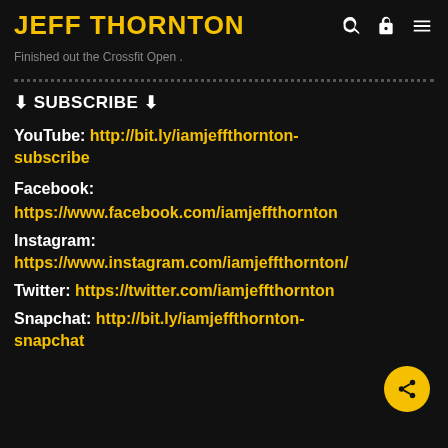JEFF THORNTON
Finished out the Crossfit Open .
⬇ SUBSCRIBE ⬇
YouTube: http://bit.ly/iamjeffthornton-subscribe
Facebook: https://www.facebook.com/iamjeffthornton
Instagram: https://www.instagram.com/iamjeffthornton/
Twitter: https://twitter.com/iamjeffthornton
Snapchat: http://bit.ly/iamjeffthornton-snapchat